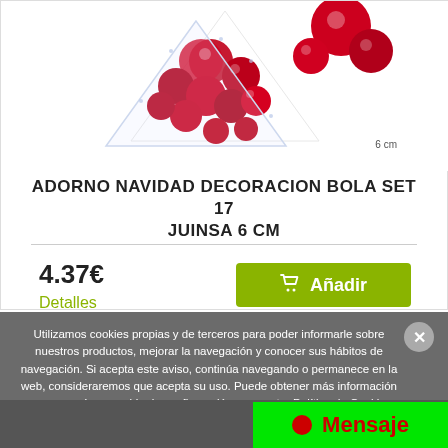[Figure (photo): Christmas ornament balls set product photo showing red baubles arranged in a tree shape with size indicator '6 cm']
ADORNO NAVIDAD DECORACION BOLA SET 17 JUINSA 6 CM
4.37€
Detalles
Añadir
Utilizamos cookies propias y de terceros para poder informarle sobre nuestros productos, mejorar la navegación y conocer sus hábitos de navegación. Si acepta este aviso, continúa navegando o permanece en la web, consideraremos que acepta su uso. Puede obtener más información y conocer cómo cambiar la configuración en nuestra Política de Cookies.
Mensaje